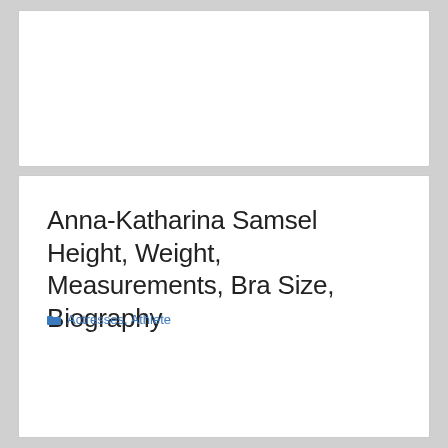Anna-Katharina Samsel Height, Weight, Measurements, Bra Size, Biography
Actresses, Athlete